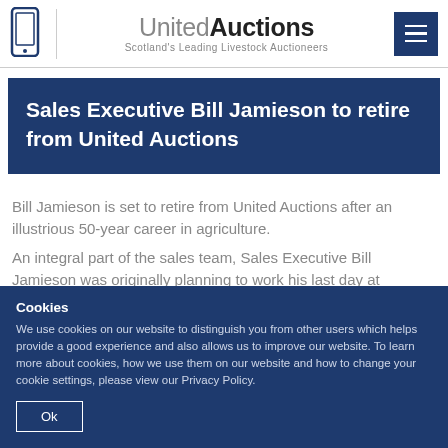United Auctions — Scotland's Leading Livestock Auctioneers
Sales Executive Bill Jamieson to retire from United Auctions
Bill Jamieson is set to retire from United Auctions after an illustrious 50-year career in agriculture.
An integral part of the sales team, Sales Executive Bill Jamieson was originally planning to work his last day at
Cookies
We use cookies on our website to distinguish you from other users which helps provide a good experience and also allows us to improve our website. To learn more about cookies, how we use them on our website and how to change your cookie settings, please view our Privacy Policy.
Ok